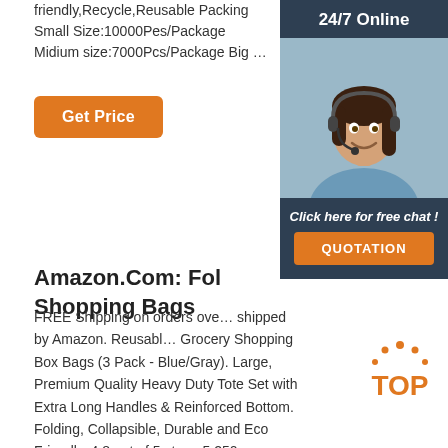friendly,Recycle,Reusable Packing Small Size:10000Pes/Package Midium size:7000Pcs/Package Big …
Get Price
24/7 Online
[Figure (photo): Customer service representative woman with headset smiling]
Click here for free chat !
QUOTATION
Amazon.Com: Fol… Shopping Bags
FREE Shipping on orders ove… shipped by Amazon. Reusabl… Grocery Shopping Box Bags (3 Pack - Blue/Gray). Large, Premium Quality Heavy Duty Tote Set with Extra Long Handles & Reinforced Bottom. Folding, Collapsible, Durable and Eco Friendly. 4.8 out of 5 stars. 5,250. $25.09…
[Figure (logo): TOP badge with orange dots and orange text]